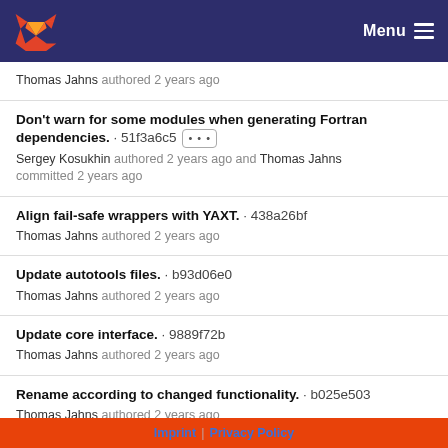GitLab Menu
Thomas Jahns authored 2 years ago
Don't warn for some modules when generating Fortran dependencies. · 51f3a6c5
Sergey Kosukhin authored 2 years ago and Thomas Jahns committed 2 years ago
Align fail-safe wrappers with YAXT. · 438a26bf
Thomas Jahns authored 2 years ago
Update autotools files. · b93d06e0
Thomas Jahns authored 2 years ago
Update core interface. · 9889f72b
Thomas Jahns authored 2 years ago
Rename according to changed functionality. · b025e503
Thomas Jahns authored 2 years ago
Imprint | Privacy Policy